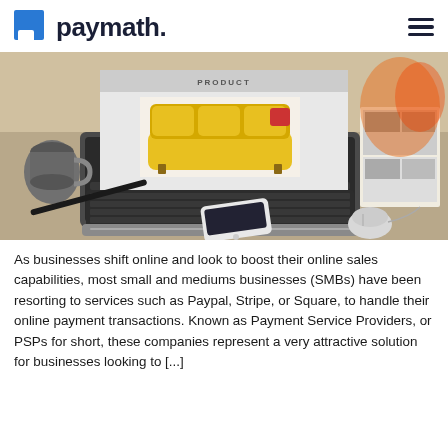paymath.
[Figure (photo): A MacBook laptop on a desk showing a yellow sofa product page, with a coffee mug, pen, smartphone, and mouse visible around it. An open magazine is in the background.]
As businesses shift online and look to boost their online sales capabilities, most small and mediums businesses (SMBs) have been resorting to services such as Paypal, Stripe, or Square, to handle their online payment transactions. Known as Payment Service Providers, or PSPs for short, these companies represent a very attractive solution for businesses looking to [...]